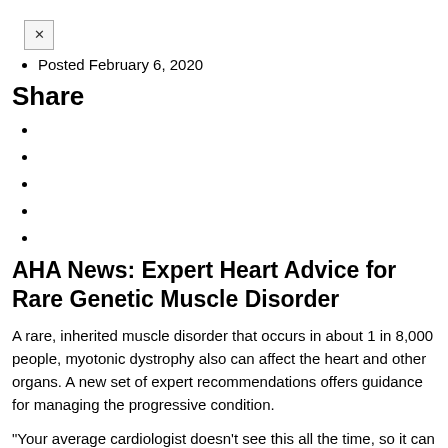[Figure (other): Close button (X) in top-left corner, a small box with an X symbol]
Posted February 6, 2020
Share
AHA News: Expert Heart Advice for Rare Genetic Muscle Disorder
A rare, inherited muscle disorder that occurs in about 1 in 8,000 people, myotonic dystrophy also can affect the heart and other organs. A new set of expert recommendations offers guidance for managing the progressive condition.
"Your average cardiologist doesn't see this all the time, so it can often get overlooked," said lead author, Dr. Elizabeth McNally. "We want to make sure people are aware of what to look for and